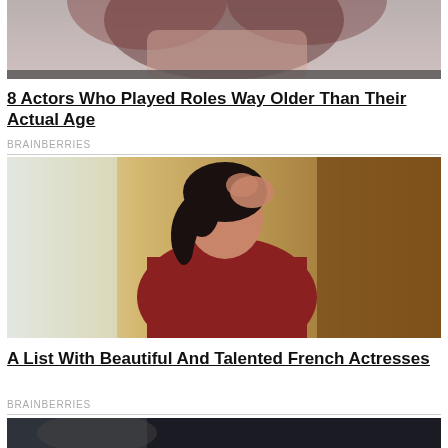[Figure (photo): Partial photo of a woman with long brown/red hair, cropped at top]
8 Actors Who Played Roles Way Older Than Their Actual Age
BRAINBERRIES
[Figure (photo): Photo of a woman in a red top putting her hair up, standing near a window with warm wooden background]
A List With Beautiful And Talented French Actresses
BRAINBERRIES
[Figure (photo): Partial photo at bottom, dark tones, person visible]